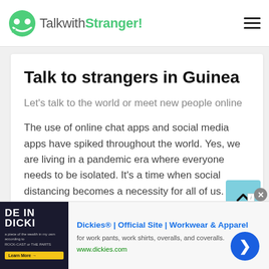TalkwithStranger!
Talk to strangers in Guinea
Let's talk to the world or meet new people online
The use of online chat apps and social media apps have spiked throughout the world. Yes, we are living in a pandemic era where everyone needs to be isolated. It's a time when social distancing becomes a necessity for all of us. The nationwide online study also revealed that there is a strong relationship
[Figure (other): Advertisement banner for Dickies workwear. Shows 'DE IN DICKIE' image on left, with text 'Dickies® | Official Site | Workwear & Apparel', subtitle 'for work pants, work shirts, overalls, and coveralls.', URL 'www.dickies.com', and a blue arrow button.]